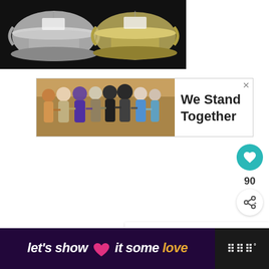[Figure (photo): Close-up photo of two silver trophy cups or ornate silver bowls on a dark background, with small white labels/tags attached to them]
[Figure (photo): Advertisement banner showing a group of diverse people standing in a row with arms around each other, seen from behind, with text 'We Stand Together' on the right side]
[Figure (infographic): Heart/like button (teal circular button with white heart icon), count of 90, and share button (circular button with share icon) on the right side]
[Figure (infographic): What's Next panel showing a circular thumbnail image of a squash blossom jewelry item, with label 'WHAT'S NEXT' and text 'SQUASH BLOSSOM...']
[Figure (infographic): Bottom advertisement bar with dark purple background showing text 'let's show it some love' with a pink heart, and the Whirlpool logo on the right]